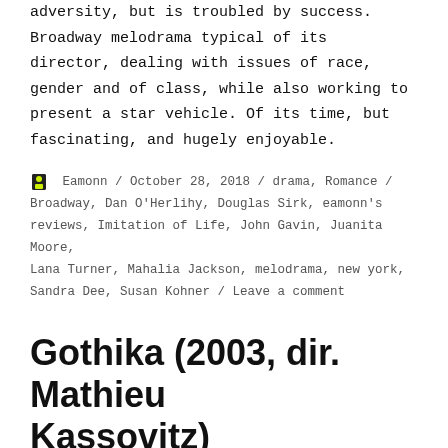adversity, but is troubled by success. Broadway melodrama typical of its director, dealing with issues of race, gender and of class, while also working to present a star vehicle. Of its time, but fascinating, and hugely enjoyable.
Eamonn / October 28, 2018 / drama, Romance / Broadway, Dan O'Herlihy, Douglas Sirk, eamonn's reviews, Imitation of Life, John Gavin, Juanita Moore, Lana Turner, Mahalia Jackson, melodrama, new york, Sandra Dee, Susan Kohner / Leave a comment
Gothika (2003, dir. Mathieu Kassovitz)
[Figure (photo): Dark blue-toned image strip, partially visible at bottom of page]